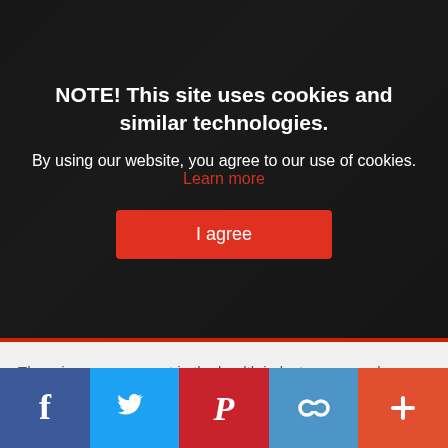NOTE! This site uses cookies and similar technologies.
By using our website, you agree to our use of cookies. Learn more
I agree
There is a new concept in the health industry commonly known as Holistic Health. What is Holistic health? Holistic health is based on the principle that physical and mental aspects of the body are interlinked and play a vital role into the overall health and wellness of a person. Holistic Health is often much related to the concept of alternative medicine but many people consider it as the prime concept.
[Figure (other): Social media share bar with icons for Facebook, Twitter, Pinterest, a link icon, and a plus button]